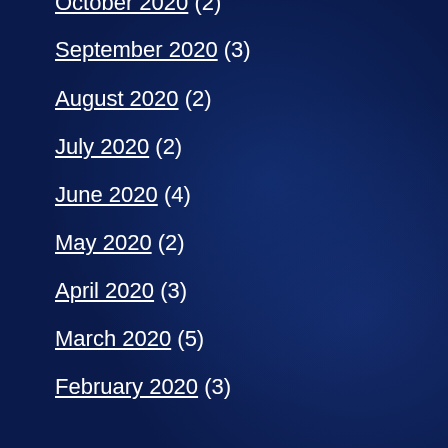October 2020 (2)
September 2020 (3)
August 2020 (2)
July 2020 (2)
June 2020 (4)
May 2020 (2)
April 2020 (3)
March 2020 (5)
February 2020 (3)
January 2020 (2)
December 2019 (3)
November 2019 (2)
October 2019 (3)
September 2019 (2)
August 2019 (3)